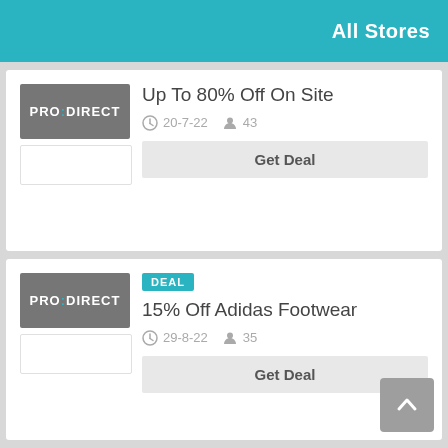All Stores
Up To 80% Off On Site
20-7-22   43
Get Deal
DEAL
15% Off Adidas Footwear
29-8-22   35
Get Deal